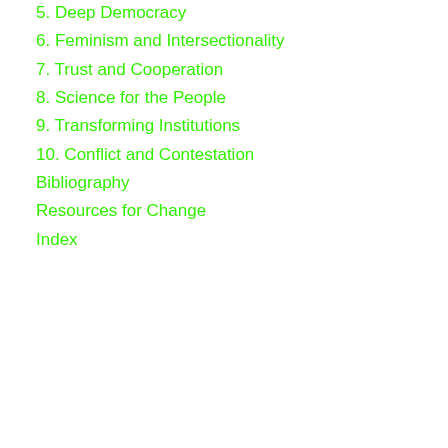5. Deep Democracy
6. Feminism and Intersectionality
7. Trust and Cooperation
8. Science for the People
9. Transforming Institutions
10. Conflict and Contestation
Bibliography
Resources for Change
Index
at July 05, 2017   No comments:
Newer Posts
Home
Subscribe to: Posts (Atom)
Imperialism Is the Arsonist: Marxism's Contribution to and Struggles
Imperialism Is the Arsonist: Marxism's Contribution to...